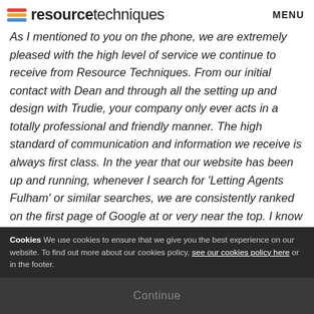resource techniques | MENU
As I mentioned to you on the phone, we are extremely pleased with the high level of service we continue to receive from Resource Techniques. From our initial contact with Dean and through all the setting up and design with Trudie, your company only ever acts in a totally professional and friendly manner. The high standard of communication and information we receive is always first class. In the year that our website has been up and running, whenever I search for 'Letting Agents Fulham' or similar searches, we are consistently ranked on the first page of Google at or very near the top. I know that we have not always provided you with the information you ask for promptly, and I really do
Cookies We use cookies to ensure that we give you the best experience on our website. To find out more about our cookies policy, see our cookies policy here or in the footer.
Continue